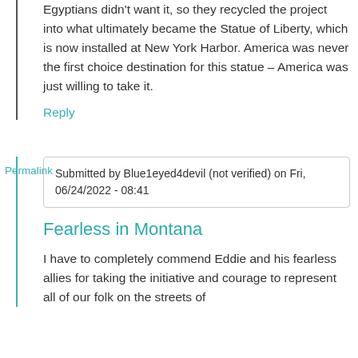Egyptians didn't want it, so they recycled the project into what ultimately became the Statue of Liberty, which is now installed at New York Harbor. America was never the first choice destination for this statue – America was just willing to take it.
Reply
Permalink
Submitted by Blue1eyed4devil (not verified) on Fri, 06/24/2022 - 08:41
Fearless in Montana
I have to completely commend Eddie and his fearless allies for taking the initiative and courage to represent all of our folk on the streets of